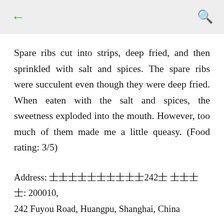← 🔍
Spare ribs cut into strips, deep fried, and then sprinkled with salt and spices. The spare ribs were succulent even though they were deep fried. When eaten with the salt and spices, the sweetness exploded into the mouth. However, too much of them made me a little queasy. (Food rating: 3/5)
Address: 🀆🀆🀆🀆🀆🀆🀆🀆🀆🀆242🀆 🀆🀆🀆🀆: 200010, 242 Fuyou Road, Huangpu, Shanghai, China